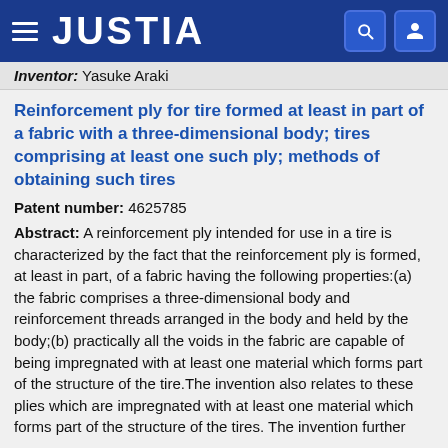JUSTIA
Inventor: Yasuke Araki
Reinforcement ply for tire formed at least in part of a fabric with a three-dimensional body; tires comprising at least one such ply; methods of obtaining such tires
Patent number: 4625785
Abstract: A reinforcement ply intended for use in a tire is characterized by the fact that the reinforcement ply is formed, at least in part, of a fabric having the following properties:(a) the fabric comprises a three-dimensional body and reinforcement threads arranged in the body and held by the body;(b) practically all the voids in the fabric are capable of being impregnated with at least one material which forms part of the structure of the tire.The invention also relates to these plies which are impregnated with at least one material which forms part of the structure of the tires. The invention further